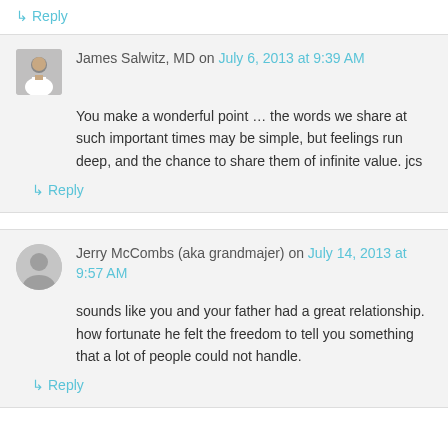↳ Reply
James Salwitz, MD on July 6, 2013 at 9:39 AM
You make a wonderful point … the words we share at such important times may be simple, but feelings run deep, and the chance to share them of infinite value. jcs
↳ Reply
Jerry McCombs (aka grandmajer) on July 14, 2013 at 9:57 AM
sounds like you and your father had a great relationship. how fortunate he felt the freedom to tell you something that a lot of people could not handle.
↳ Reply